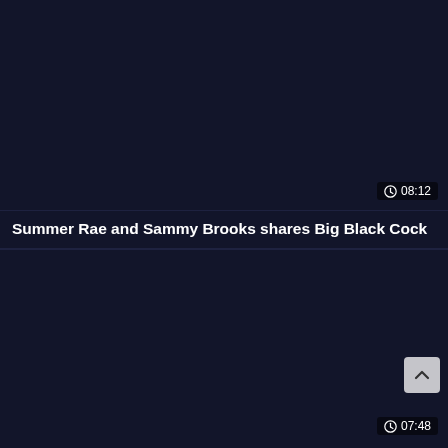[Figure (screenshot): Dark navy video thumbnail placeholder for first video]
08:12
Summer Rae and Sammy Brooks shares Big Black Cock
[Figure (screenshot): Dark navy video thumbnail placeholder for second video]
07:48
Sexy Mummy Phyllisha Anne shares BBC With Haley Sweet